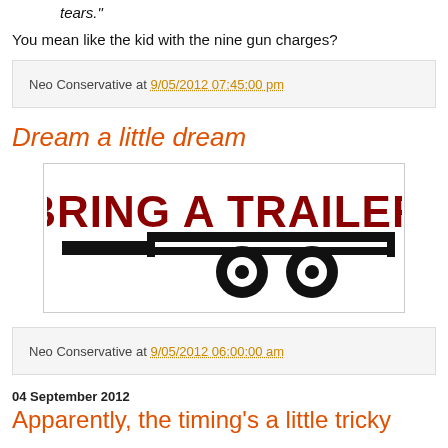tears."
You mean like the kid with the nine gun charges?
Neo Conservative at 9/05/2012 07:45:00 pm
Dream a little dream
[Figure (logo): Bring A Trailer logo — bold dark red text 'BRING A TRAILER' with a stylized trailer silhouette in black below]
Neo Conservative at 9/05/2012 06:00:00 am
04 September 2012
Apparently, the timing's a little tricky